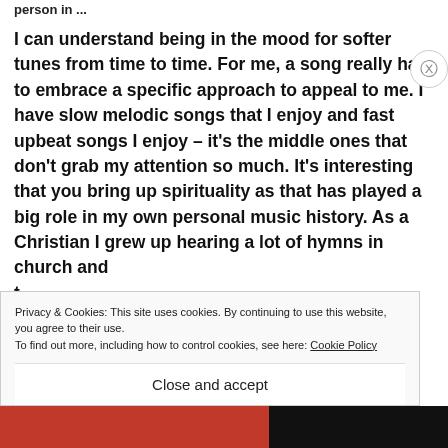person in ...
I can understand being in the mood for softer tunes from time to time. For me, a song really has to embrace a specific approach to appeal to me. I have slow melodic songs that I enjoy and fast upbeat songs I enjoy – it's the middle ones that don't grab my attention so much. It's interesting that you bring up spirituality as that has played a big role in my own personal music history. As a Christian I grew up hearing a lot of hymns in church and t... o...
Privacy & Cookies: This site uses cookies. By continuing to use this website, you agree to their use.
To find out more, including how to control cookies, see here: Cookie Policy
Close and accept